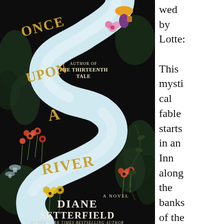[Figure (illustration): Book cover of 'Once Upon a River' by Diane Setterfield. Dark/black background with an S-shaped white river winding through the cover. Golden text reads 'ONCE UPON A RIVER' along the river. Colorful wildflowers (orange/red/yellow) and dark foliage surround the river. At the top: 'AUTHOR OF THE THIRTEENTH TALE'. At the bottom: 'A NOVEL' and 'DIANE SETTERFIELD' and '#1 NEW YORK TIMES BESTSELLING AUTHOR'. A small illustrated figure (woman with yellow hat/bag) appears at top right of the river.]
wed by Lotte:

This mystical fable starts in an Inn along the banks of the river